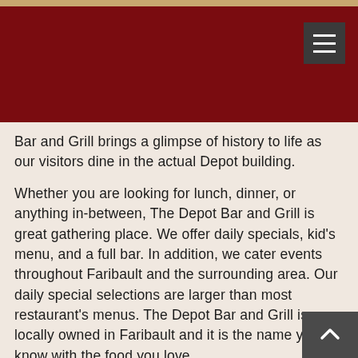Bar and Grill brings a glimpse of history to life as our visitors dine in the actual Depot building.
Whether you are looking for lunch, dinner, or anything in-between, The Depot Bar and Grill is great gathering place. We offer daily specials, kid's menu, and a full bar. In addition, we cater events throughout Faribault and the surrounding area. Our daily special selections are larger than most restaurant's menus. The Depot Bar and Grill is locally owned in Faribault and it is the name you know with the food you love.